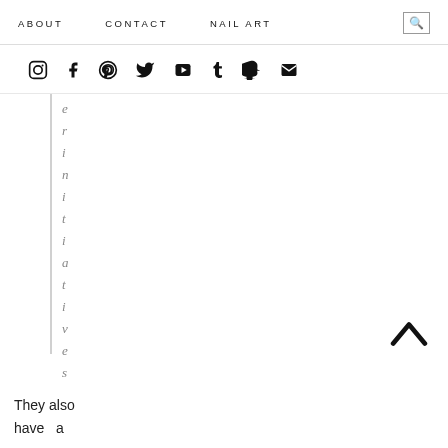ABOUT   CONTACT   NAIL ART
[Figure (other): Social media icons row: Instagram, Facebook, Pinterest, Twitter, YouTube, Tumblr, Snapchat, Email]
e r i n i t i a t i v e s .
They also have a